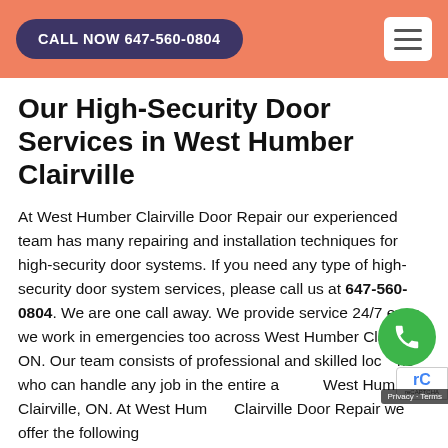CALL NOW 647-560-0804
Our High-Security Door Services in West Humber Clairville
At West Humber Clairville Door Repair our experienced team has many repairing and installation techniques for high-security door systems. If you need any type of high-security door system services, please call us at 647-560-0804. We are one call away. We provide service 24/7 even we work in emergencies too across West Humber Clairville, ON. Our team consists of professional and skilled locksmiths who can handle any job in the entire area of West Humber Clairville, ON. At West Humber Clairville Door Repair we offer the following